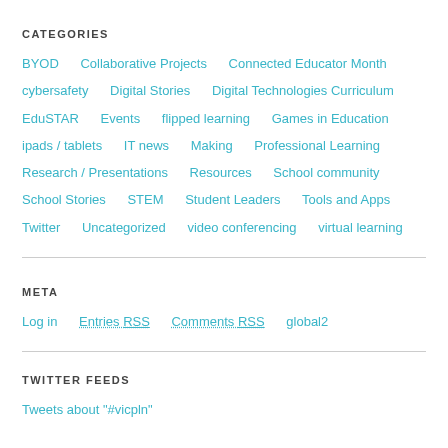CATEGORIES
BYOD   Collaborative Projects   Connected Educator Month   cybersafety   Digital Stories   Digital Technologies Curriculum   EduSTAR   Events   flipped learning   Games in Education   ipads / tablets   IT news   Making   Professional Learning   Research / Presentations   Resources   School community   School Stories   STEM   Student Leaders   Tools and Apps   Twitter   Uncategorized   video conferencing   virtual learning
META
Log in   Entries RSS   Comments RSS   global2
TWITTER FEEDS
Tweets about "#vicpln"